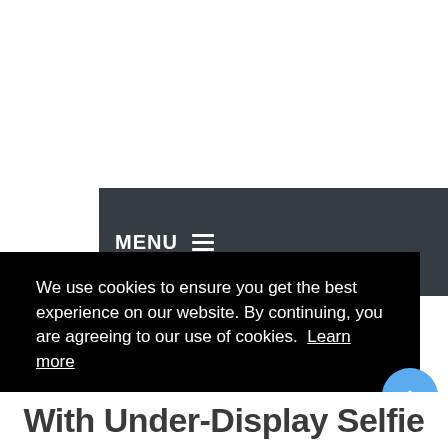MENU ☰
We use cookies to ensure you get the best experience on our website. By continuing, you are agreeing to our use of cookies.  Learn more
Got it!
With Under-Display Selfie